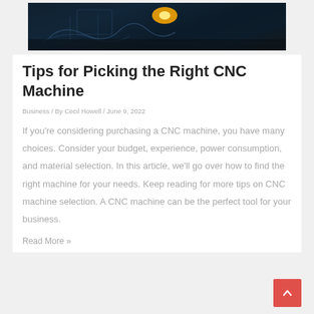[Figure (photo): CNC laser cutting machine working on a dark metal surface with an orange-yellow glow from the laser point, viewed at an angle showing engraved patterns.]
Tips for Picking the Right CNC Machine
Business / By Cecil Howell / June 9, 2022
If you're considering purchasing a CNC machine, you have many choices. Consider your budget, experience, power consumption, and material selection. In this article, we'll go over how to find the right machine for your needs. Keep reading for more tips on CNC machine selection. A CNC machine can be the perfect tool for your business.
Read More »